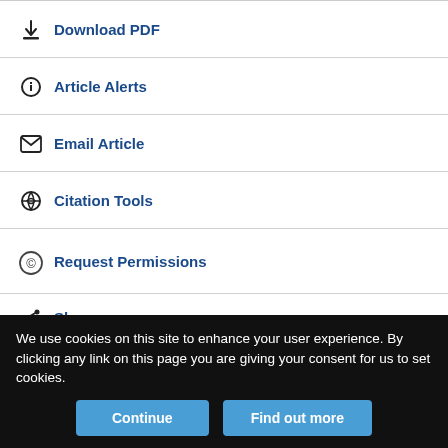Download PDF
Article Alerts
Email Article
Citation Tools
Request Permissions
Share
[Figure (screenshot): Tweet button and Like 0 Facebook button]
Related Articles
We use cookies on this site to enhance your user experience. By clicking any link on this page you are giving your consent for us to set cookies.
Continue
Find out more